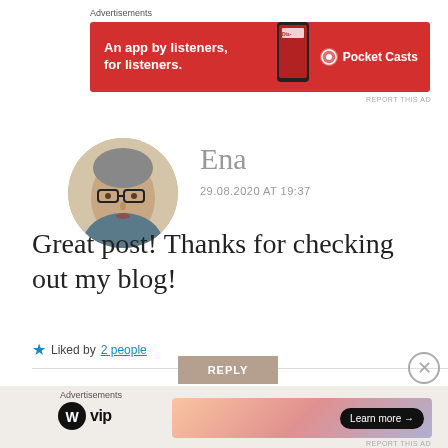Advertisements
[Figure (screenshot): Pocket Casts ad banner: red background with text 'An app by listeners, for listeners.' and Pocket Casts logo with podcast app graphic]
REPORT THIS AD
Ena
29.08.2020 AT 19:37
[Figure (photo): Profile photo of Ena: woman with short grey hair and glasses in circular avatar crop]
Great post! Thanks for checking out my blog!
★ Liked by 2 people
REPLY
Advertisements
[Figure (screenshot): WordPress VIP advertisement banner with gradient background and 'Learn more →' button]